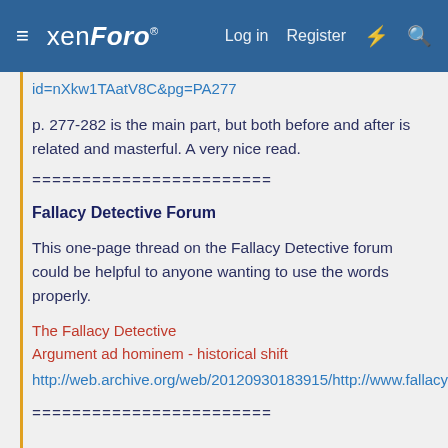≡ xenForo® | Log in | Register
id=nXkw1TAatV8C&pg=PA277
p. 277-282 is the main part, but both before and after is related and masterful. A very nice read.
========================
Fallacy Detective Forum
This one-page thread on the Fallacy Detective forum could be helpful to anyone wanting to use the words properly.
The Fallacy Detective
Argument ad hominem - historical shift
http://web.archive.org/web/20120930183915/http://www.fallacydetective.com/forum/viewthread/21/
========================